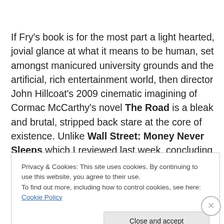If Fry's book is for the most part a light hearted, jovial glance at what it means to be human, set amongst manicured university grounds and the artificial, rich entertainment world, then director John Hillcoat's 2009 cinematic imagining of Cormac McCarthy's novel The Road is a bleak and brutal, stripped back stare at the core of existence. Unlike Wall Street: Money Never Sleeps which I reviewed last week, concluding that it had little
Privacy & Cookies: This site uses cookies. By continuing to use this website, you agree to their use.
To find out more, including how to control cookies, see here: Cookie Policy